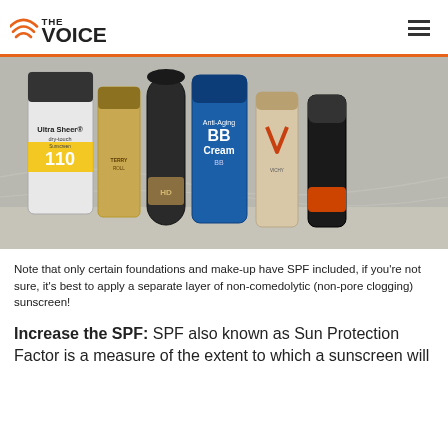THE VOICE
[Figure (photo): Photo of several sunscreen and makeup products including Neutrogena Ultra Sheer dry-touch sunscreen SPF 110, Terry Roll foundation, HD foundation, Anti-Aging BB Cream, Vichy Normaderm/Ideallia product, and another tube, arranged on a marble countertop.]
Note that only certain foundations and make-up have SPF included, if you're not sure, it's best to apply a separate layer of non-comedolytic (non-pore clogging) sunscreen!
Increase the SPF: SPF also known as Sun Protection Factor is a measure of the extent to which a sunscreen will protect skin. SPF is also determined by the duration of...